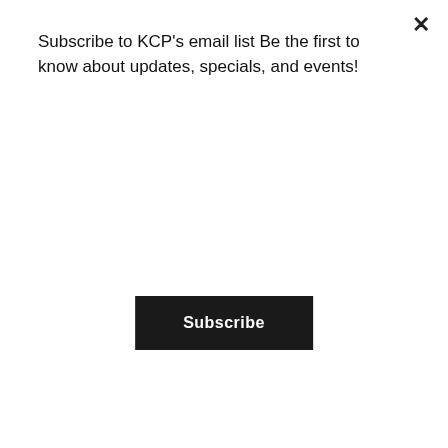Subscribe to KCP's email list Be the first to know about updates, specials, and events!
Subscribe
[Figure (photo): A smiling pregnant woman with long brown hair wearing a teal/slate blue short-sleeved dress and holding a floral kimono, standing outdoors in a bright green spring garden setting with light foliage in the background.]